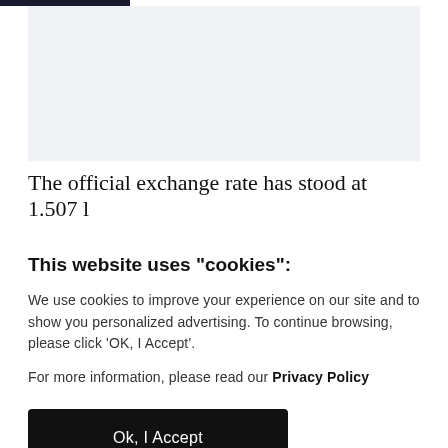[Figure (screenshot): Light gray placeholder image area representing a partially visible webpage screenshot]
The official exchange rate has stood at
1.507 l...
This website uses "cookies":
We use cookies to improve your experience on our site and to show you personalized advertising. To continue browsing, please click ‘OK, I Accept’.
For more information, please read our Privacy Policy
Ok, I Accept